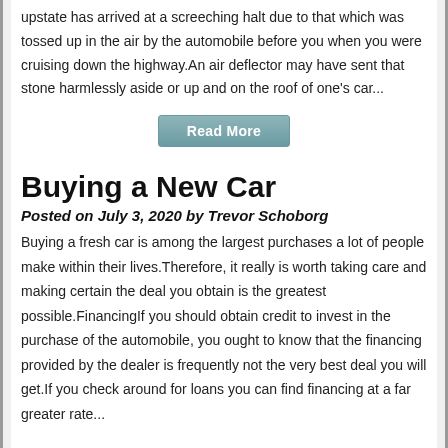upstate has arrived at a screeching halt due to that which was tossed up in the air by the automobile before you when you were cruising down the highway.An air deflector may have sent that stone harmlessly aside or up and on the roof of one's car...
[Figure (other): Read More button - a teal/blue-grey styled button with white text]
Buying a New Car
Posted on July 3, 2020 by Trevor Schoborg
Buying a fresh car is among the largest purchases a lot of people make within their lives.Therefore, it really is worth taking care and making certain the deal you obtain is the greatest possible.FinancingIf you should obtain credit to invest in the purchase of the automobile, you ought to know that the financing provided by the dealer is frequently not the very best deal you will get.If you check around for loans you can find financing at a far greater rate...